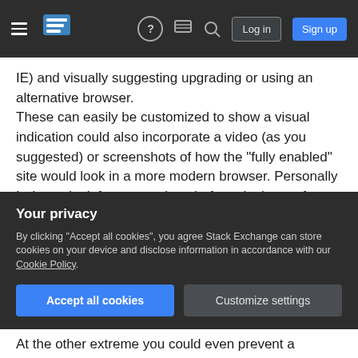Stack Exchange navigation bar with hamburger menu, logo, help icon, chat icon, search icon, Log in and Sign up buttons
IE) and visually suggesting upgrading or using an alternative browser.
These can easily be customized to show a visual indication could also incorporate a video (as you suggested) or screenshots of how the "fully enabled" site would look in a more modern browser. Personally I always look for screenshots before signing up for anything.
As long as they're warned before making a purchase (which you are doing), unfortunately
Your privacy
By clicking "Accept all cookies", you agree Stack Exchange can store cookies on your device and disclose information in accordance with our Cookie Policy.
Accept all cookies   Customize settings
At the other extreme you could even prevent a